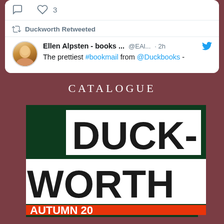[Figure (screenshot): Twitter card top portion showing comment and heart icons with '3' likes]
Duckworth Retweeted
Ellen Alpsten - books ... @EAl... · 2h
The prettiest #bookmail from @Duckbooks -
CATALOGUE
[Figure (photo): Duckworth Autumn book catalogue cover showing 'DUCK-WORTH' in large bold black text on white panels against dark green background, with partial red text at bottom reading 'AUTUMN 20__']